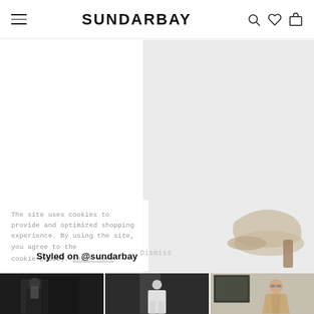SUNDARBAY
[Figure (photo): Partial product image of grey high-heeled shoe on light grey background, cropped on right side]
Grey High
The site uses cookies to provide and optimized shopping experience. By using the site, you agree to the cookie policy. Learn More
Dismiss
Styled on @sundarbay
[Figure (photo): Instagram-style photo strip: three fashion photos showing people wearing Sundarbay clothing, including mirror selfie in black outfit, person in white, and person in beige/tan jacket with sunglasses]